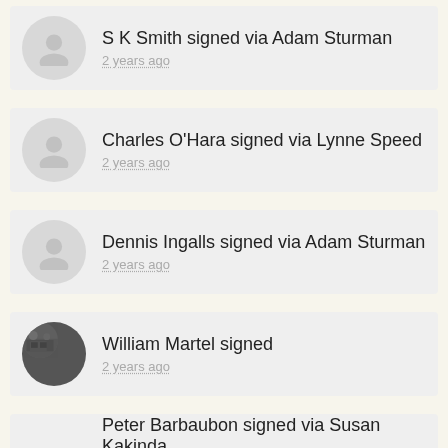S K Smith signed via Adam Sturman
2 years ago
Charles O'Hara signed via Lynne Speed
2 years ago
Dennis Ingalls signed via Adam Sturman
2 years ago
William Martel signed
2 years ago
Peter Barbaubon signed via Susan Kakinda